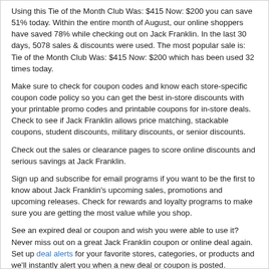Using this Tie of the Month Club Was: $415 Now: $200 you can save 51% today. Within the entire month of August, our online shoppers have saved 78% while checking out on Jack Franklin. In the last 30 days, 5078 sales & discounts were used. The most popular sale is: Tie of the Month Club Was: $415 Now: $200 which has been used 32 times today.
Make sure to check for coupon codes and know each store-specific coupon code policy so you can get the best in-store discounts with your printable promo codes and printable coupons for in-store deals. Check to see if Jack Franklin allows price matching, stackable coupons, student discounts, military discounts, or senior discounts.
Check out the sales or clearance pages to score online discounts and serious savings at Jack Franklin.
Sign up and subscribe for email programs if you want to be the first to know about Jack Franklin's upcoming sales, promotions and upcoming releases. Check for rewards and loyalty programs to make sure you are getting the most value while you shop.
See an expired deal or coupon and wish you were able to use it? Never miss out on a great Jack Franklin coupon or online deal again. Set up deal alerts for your favorite stores, categories, or products and we'll instantly alert you when a new deal or coupon is posted.